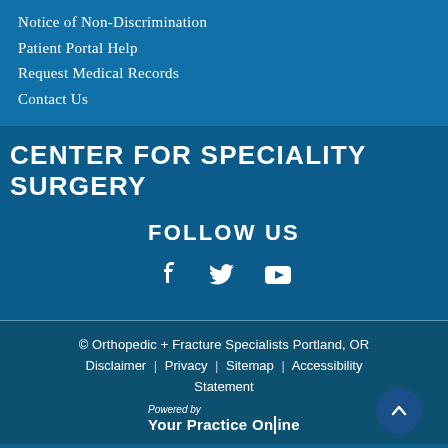Notice of Non-Discrimination
Patient Portal Help
Request Medical Records
Contact Us
CENTER FOR SPECIALITY SURGERY
FOLLOW US
[Figure (infographic): Social media icons: Facebook, Twitter, YouTube]
© Orthopedic + Fracture Specialists Portland, OR
Disclaimer | Privacy | Sitemap | Accessibility Statement
Powered by Your Practice Online